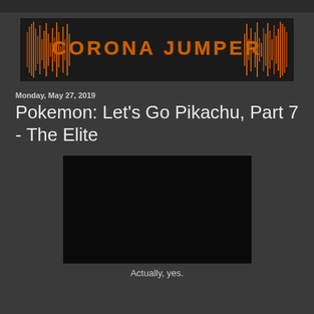[Figure (logo): Corona Jumper logo with orange audio waveform spikes on dark background, text reads CORONA JUMPER in orange metallic letters]
Monday, May 27, 2019
Pokemon: Let's Go Pikachu, Part 7 - The Elite
[Figure (screenshot): Black video player placeholder rectangle]
Actually, yes.